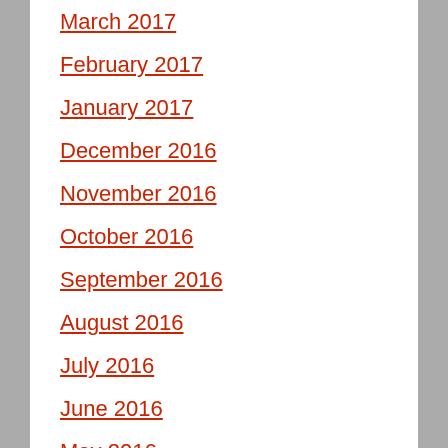March 2017
February 2017
January 2017
December 2016
November 2016
October 2016
September 2016
August 2016
July 2016
June 2016
May 2016
April 2016
March 2016
February 2016
January 2016